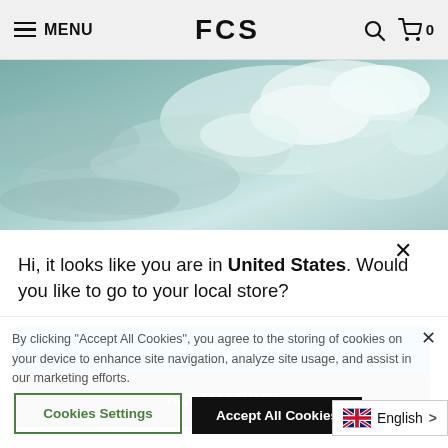MENU | FCS | Search | Cart 0
[Figure (photo): Aerial/close-up photo of ocean water with white foam and teal-blue waves]
Hi, it looks like you are in United States. Would you like to go to your local store?
YES PLEASE!
NO THANKS!
By clicking "Accept All Cookies", you agree to the storing of cookies on your device to enhance site navigation, analyze site usage, and assist in our marketing efforts.
Cookies Settings
Accept All Cookies
English